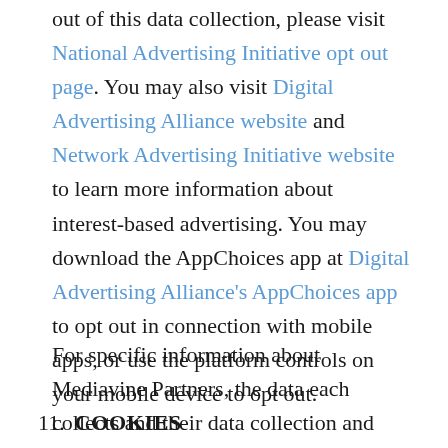out of this data collection, please visit National Advertising Initiative opt out page. You may also visit Digital Advertising Alliance website and Network Advertising Initiative website to learn more information about interest-based advertising. You may download the AppChoices app at Digital Advertising Alliance's AppChoices app to opt out in connection with mobile apps, or use the platform controls on your mobile device to opt out.
For specific information about Mediavine Partners, the data each collects and their data collection and privacy policies, please visit Mediavine Partners.
11. COOKIES